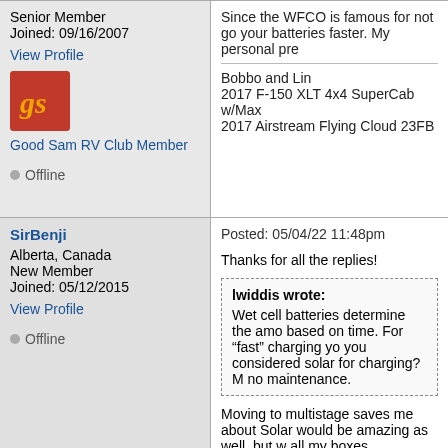Senior Member
Joined: 09/16/2007
View Profile
[Figure (logo): Good Sam RV Club logo - red square with gold 'gs' italic text]
Good Sam RV Club Member
Offline
Since the WFCO is famous for not go your batteries faster. My personal pre
Bobbo and Lin
2017 F-150 XLT 4x4 SuperCab w/Max
2017 Airstream Flying Cloud 23FB
SirBenji
Alberta, Canada
New Member
Joined: 05/12/2015
View Profile
Offline
Posted: 05/04/22 11:48pm
Thanks for all the replies!
lwiddis wrote:
Wet cell batteries determine the amo based on time. For “fast” charging yo you considered solar for charging? M no maintenance.
Moving to multistage saves me about Solar would be amazing as well, but w all my boxes.